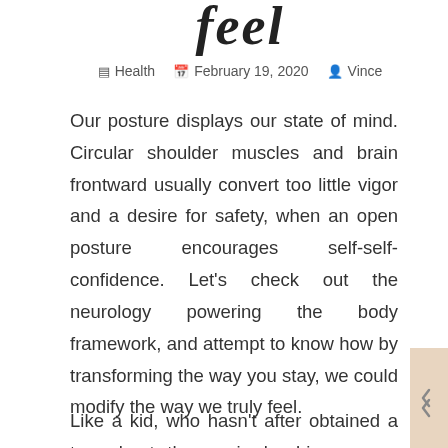feel
Health  February 19, 2020  Vince
Our posture displays our state of mind. Circular shoulder muscles and brain frontward usually convert too little vigor and a desire for safety, when an open posture encourages self-self-confidence. Let’s check out the neurology powering the body framework, and attempt to know how by transforming the way you stay, we could modify the way we truly feel.
Like a kid, who hasn’t after obtained a tap about the again by his mommy accompanied by: “operate directly!” How come a person jogging with his head up